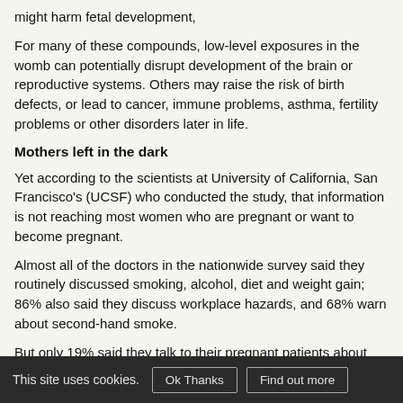might harm fetal development,
For many of these compounds, low-level exposures in the womb can potentially disrupt development of the brain or reproductive systems. Others may raise the risk of birth defects, or lead to cancer, immune problems, asthma, fertility problems or other disorders later in life.
Mothers left in the dark
Yet according to the scientists at University of California, San Francisco's (UCSF) who conducted the study, that information is not reaching most women who are pregnant or want to become pregnant.
Almost all of the doctors in the nationwide survey said they routinely discussed smoking, alcohol, diet and weight gain; 86% also said they discuss workplace hazards, and 68% warn about second-hand smoke.
But only 19% said they talk to their pregnant patients about pesticides and only 12% discuss air pollution; 44% said they routinely discussed mercury and 11% said they mention volatile
This site uses cookies. Ok Thanks Find out more